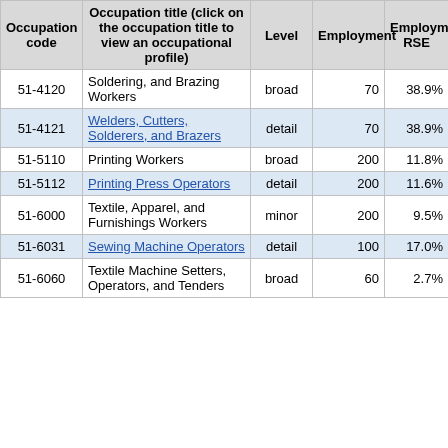| Occupation code | Occupation title (click on the occupation title to view an occupational profile) | Level | Employment | Employment RSE |
| --- | --- | --- | --- | --- |
| 51-4120 | Soldering, and Brazing Workers | broad | 70 | 38.9% |
| 51-4121 | Welders, Cutters, Solderers, and Brazers | detail | 70 | 38.9% |
| 51-5110 | Printing Workers | broad | 200 | 11.8% |
| 51-5112 | Printing Press Operators | detail | 200 | 11.6% |
| 51-6000 | Textile, Apparel, and Furnishings Workers | minor | 200 | 9.5% |
| 51-6031 | Sewing Machine Operators | detail | 100 | 17.0% |
| 51-6060 | Textile Machine Setters, Operators, and Tenders | broad | 60 | 2.7% |